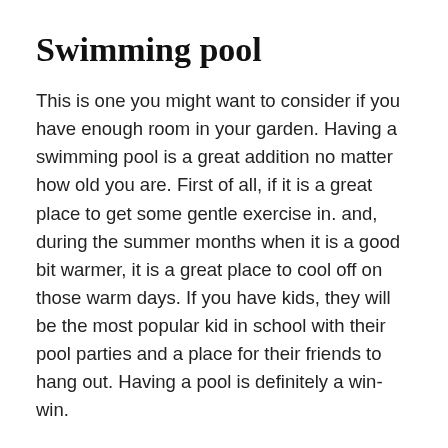Swimming pool
This is one you might want to consider if you have enough room in your garden. Having a swimming pool is a great addition no matter how old you are. First of all, if it is a great place to get some gentle exercise in. and, during the summer months when it is a good bit warmer, it is a great place to cool off on those warm days. If you have kids, they will be the most popular kid in school with their pool parties and a place for their friends to hang out. Having a pool is definitely a win-win.
Vegetable and herb garden